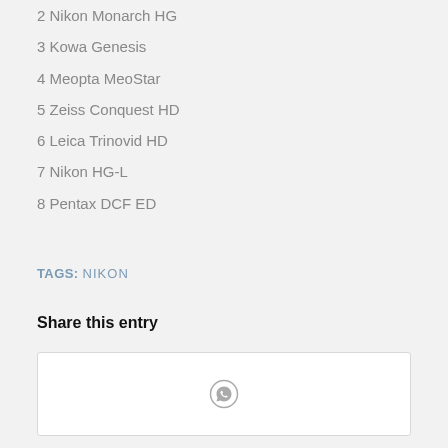2 Nikon Monarch HG
3 Kowa Genesis
4 Meopta MeoStar
5 Zeiss Conquest HD
6 Leica Trinovid HD
7 Nikon HG-L
8 Pentax DCF ED
TAGS: NIKON
Share this entry
[Figure (other): WhatsApp share button box with WhatsApp circle icon in center]